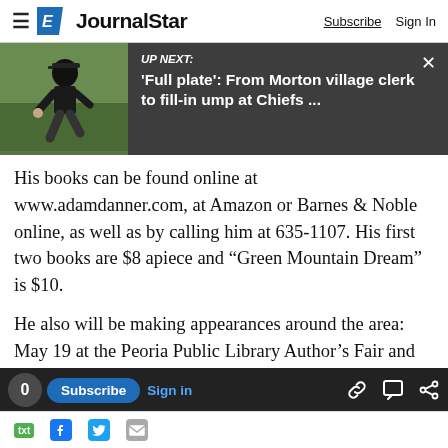JournalStar   Subscribe   Sign In
[Figure (screenshot): Up Next banner with photo of umpire crouching on baseball field, dark gray background, text reading UP NEXT: 'Full plate': From Morton village clerk to fill-in ump at Chiefs ...]
His books can be found online at www.adamdanner.com, at Amazon or Barnes & Noble online, as well as by calling him at 635-1107. His first two books are $8 apiece and “Green Mountain Dream” is $10.
He also will be making appearances around the area: May 19 at the Peoria Public Library Author’s Fair and June 2 for a book signing at “I Know You Like a Book” in Peoria Heights.
0   Subscribe   Sign in   [link icon] [comment icon] [share icon]   txt   f   Twitter   mail